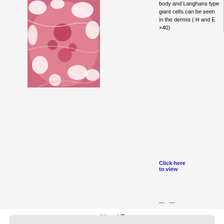[Figure (photo): Histological microscopy image showing pink/magenta stained tissue with white spaces (likely adipose or follicles), H and E stain, ×40 magnification]
body and Langhans type giant cells can be seen in the dermis ( H and E ×40)
Click here to view
This website uses cookies. By continuing to use this website you are giving consent to cookies being used. For information on cookies and how you can disable them visit our
Privacy and Cookie Policy.
AGREE & PROCEED
(H and E